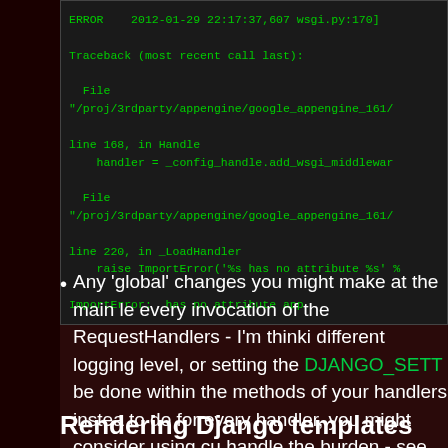[Figure (screenshot): Terminal/console screenshot showing a Python traceback error in green monospace text on dark background. ERROR 2012-01-29 22:17:37,607 wsgi.py:170] Traceback (most recent call last): File "/proj/3rdparty/appengine/google_appengine_161/... line 168, in Handle handler = _config_handle.add_wsgi_middlewar... File "/proj/3rdparty/appengine/google_appengine_161/... line 220, in _LoadHandler raise ImportError('%s has no attribute %s' ... ImportError:  has no attribute app]
Any 'global' changes you might make at the main le every invocation of the RequestHandlers - I'm thinki different logging level, or setting the DJANGO_SETT be done within the methods of your handlers instea to do for every handler, you might consider using cu handle the burden - see below.
Rendering Django templates